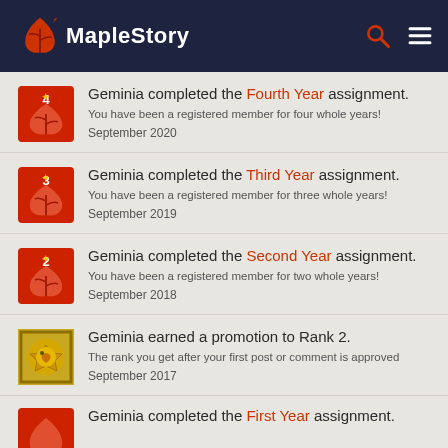MapleStory
Geminia completed the Fourth Year assignment. You have been a registered member for four whole years! September 2020
Geminia completed the Third Year assignment. You have been a registered member for three whole years! September 2019
Geminia completed the Second Year assignment. You have been a registered member for two whole years! September 2018
Geminia earned a promotion to Rank 2. The rank you get after your first post or comment is approved September 2017
Geminia completed the First Year assignment. (partial)